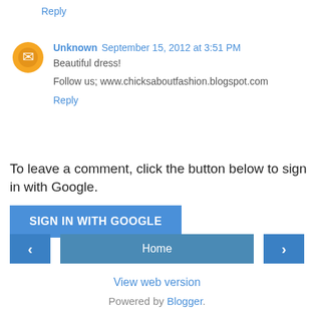Reply
Unknown  September 15, 2012 at 3:51 PM
Beautiful dress!
Follow us; www.chicksaboutfashion.blogspot.com
Reply
To leave a comment, click the button below to sign in with Google.
SIGN IN WITH GOOGLE
‹
Home
›
View web version
Powered by Blogger.